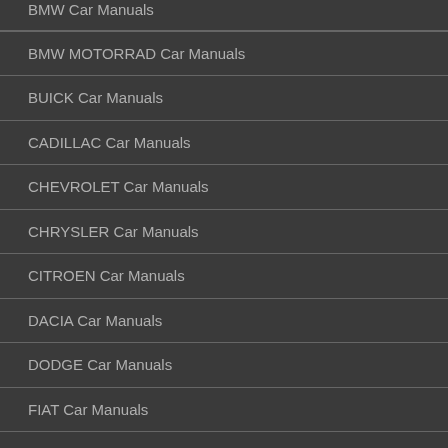BMW Car Manuals
BMW MOTORRAD Car Manuals
BUICK Car Manuals
CADILLAC Car Manuals
CHEVROLET Car Manuals
CHRYSLER Car Manuals
CITROEN Car Manuals
DACIA Car Manuals
DODGE Car Manuals
FIAT Car Manuals
FORD Car Manuals